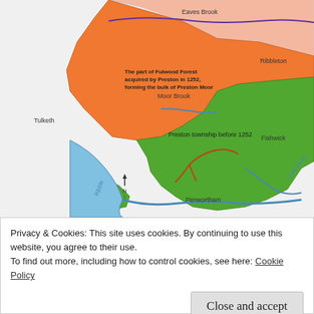[Figure (map): Map of Preston Moor and surrounding area showing Fulwood Forest acquired by Preston in 1252 forming the bulk of Preston Moor (orange area), Preston township before 1252 (green area), with labels for Eaves Brook, Ribbleton, Fishwick, Moor Brook, Ribble, Swill Brook, Tulketh, Penwortham, and a scale bar.]
Preston Moor itself was originally a part of Fulwood Forest which was separated from the forest and granted to Preston by a charter of 1252.
Privacy & Cookies: This site uses cookies. By continuing to use this website, you agree to their use.
To find out more, including how to control cookies, see here: Cookie Policy
the land, with the right to enclose as they